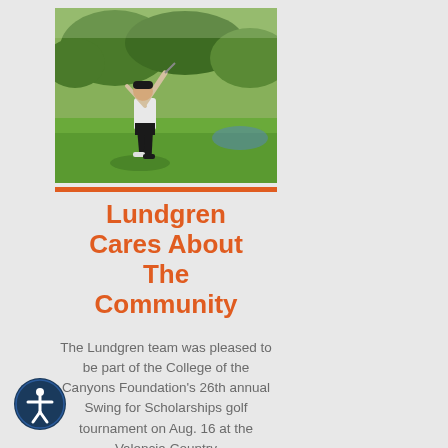[Figure (photo): A golfer swinging a golf club on a green fairway with trees in the background at a golf tournament.]
Lundgren Cares About The Community
The Lundgren team was pleased to be part of the College of the Canyons Foundation's 26th annual Swing for Scholarships golf tournament on Aug. 16 at the Valencia Country